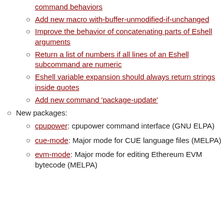command behaviors
Add new macro with-buffer-unmodified-if-unchanged
Improve the behavior of concatenating parts of Eshell arguments
Return a list of numbers if all lines of an Eshell subcommand are numeric
Eshell variable expansion should always return strings inside quotes
Add new command 'package-update'
New packages:
cpupower: cpupower command interface (GNU ELPA)
cue-mode: Major mode for CUE language files (MELPA)
evm-mode: Major mode for editing Ethereum EVM bytecode (MELPA)